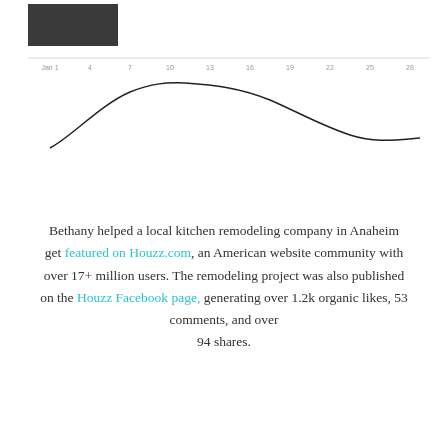[Figure (continuous-plot): Line chart showing a trend over January dates (Jan 1 through 28). A dark filled rectangle appears in upper left (legend or label area). A curved line rises from lower left to a peak around day 7-10, then gradually descends and flattens toward the right end. X-axis tick labels: Jan 1, 4, 7, 10, 13, 16, 19, 22, 25, 28.]
Bethany helped a local kitchen remodeling company in Anaheim get featured on Houzz.com, an American website community with over 17+ million users. The remodeling project was also published on the Houzz Facebook page, generating over 1.2k organic likes, 53 comments, and over 94 shares.